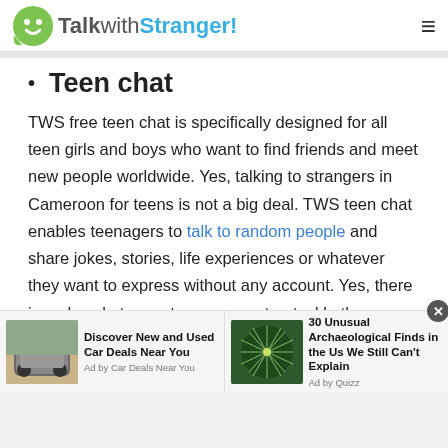TalkwithStranger!
Teen chat
TWS free teen chat is specifically designed for all teen girls and boys who want to find friends and meet new people worldwide. Yes, talking to strangers in Cameroon for teens is not a big deal. TWS teen chat enables teenagers to talk to random people and share jokes, stories, life experiences or whatever they want to express without any account. Yes, there is no hassle to create an account or tackle the registration process. Talking to strangers in
[Figure (screenshot): Advertisement bar with two ads: 'Discover New and Used Car Deals Near You' by Car Deals Near You, and '30 Unusual Archaeological Finds in the Us We Still Can't Explain' by Quizz]